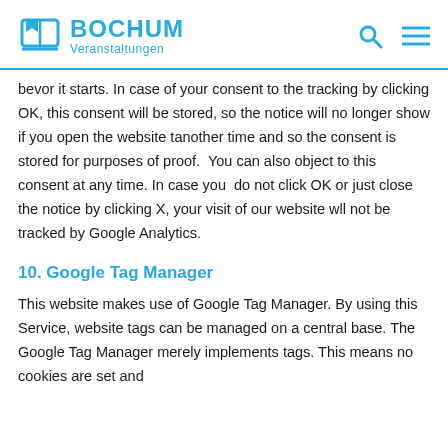BOCHUM Veranstaltungen
bevor it starts. In case of your consent to the tracking by clicking OK, this consent will be stored, so the notice will no longer show if you open the website tanother time and so the consent is stored for purposes of proof.  You can also object to this consent at any time. In case you  do not click OK or just close the notice by clicking X, your visit of our website wll not be tracked by Google Analytics.
10. Google Tag Manager
This website makes use of Google Tag Manager. By using this Service, website tags can be managed on a central base. The Google Tag Manager merely implements tags. This means no cookies are set and